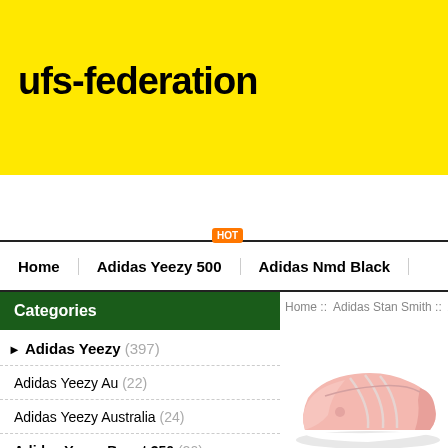ufs-federation
Home | Adidas Yeezy 500 | Adidas Nmd Black
Home :: Adidas Stan Smith :: Adidas Stan
Categories
Adidas Yeezy (397)
Adidas Yeezy Au (22)
Adidas Yeezy Australia (24)
Adidas Yeezy Boost 350 (20)
Adidas Au Yeezy (29)
Adidas Yeezy Boost 350 V2 (24)
Adidas Yeezy 350 (21)
Adidas Yeezy Boost (20)
Adidas Yeezy Slides (17)
[Figure (photo): Pink Adidas Stan Smith sneaker shoe, side view]